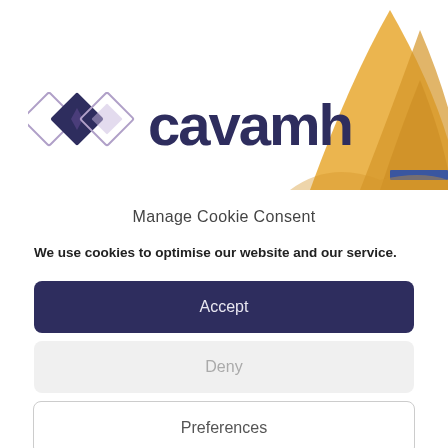[Figure (logo): Cavamh logo with geometric diamond shapes in purple/lavender tones and the text 'cavamh' in dark navy, with decorative golden/amber leaf shapes and a blue stripe in the top-right background]
Manage Cookie Consent
We use cookies to optimise our website and our service.
Accept
Deny
Preferences